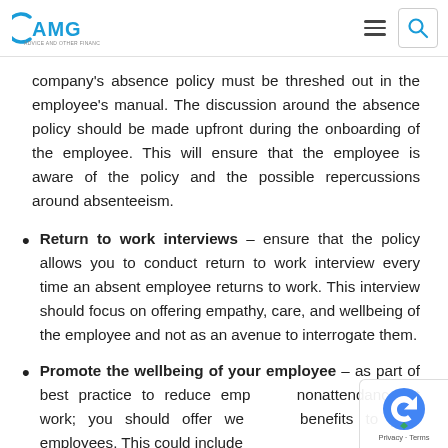AMG logo with hamburger menu and search icon
company's absence policy must be threshed out in the employee's manual. The discussion around the absence policy should be made upfront during the onboarding of the employee. This will ensure that the employee is aware of the policy and the possible repercussions around absenteeism.
Return to work interviews – ensure that the policy allows you to conduct return to work interview every time an absent employee returns to work. This interview should focus on offering empathy, care, and wellbeing of the employee and not as an avenue to interrogate them.
Promote the wellbeing of your employee – as part of best practice to reduce employee nonattendance at work; you should offer wellbeing benefits to your employees. This could include